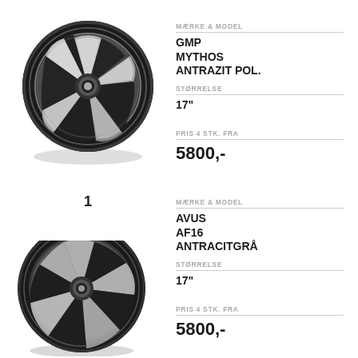[Figure (photo): GMP Mythos Antrazit Pol. alloy wheel, dark anthracite polished finish, 5-spoke design]
MÆRKE & MODEL
GMP
MYTHOS
ANTRAZIT POL.
STØRRELSE
17"
PRIS 4 STK. FRA
5800,-
1
[Figure (photo): Avus AF16 Antracitgrå alloy wheel, anthracite grey finish, 5-spoke design (partially visible)]
MÆRKE & MODEL
AVUS
AF16
ANTRACITGRÅ
STØRRELSE
17"
PRIS 4 STK. FRA
5800,-